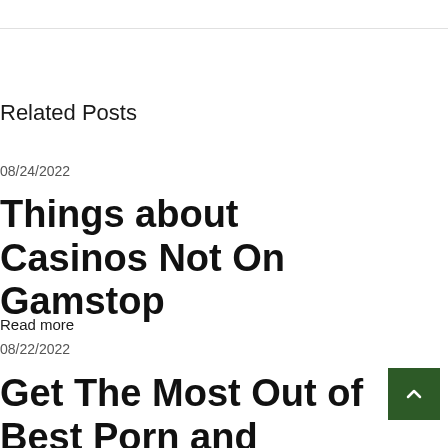Related Posts
08/24/2022
Things about Casinos Not On Gamstop
Read more
08/22/2022
Get The Most Out of Best Porn and Facebook